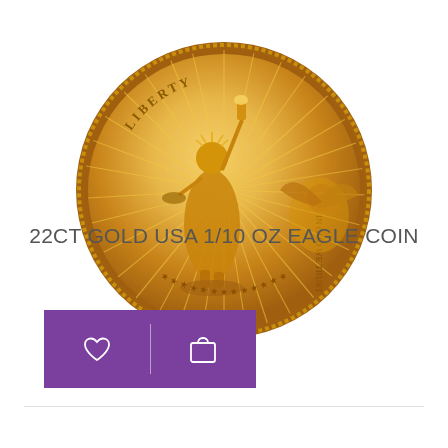[Figure (photo): Gold American Eagle coin (obverse), 22ct gold, USA 1/10 oz, showing Lady Liberty with torch and olive branch against radiating sunburst background, with star border and milled edge]
22CT GOLD USA 1/10 OZ EAGLE COIN
[Figure (other): Purple action bar with heart (wishlist) icon and shopping bag icon separated by a vertical divider]